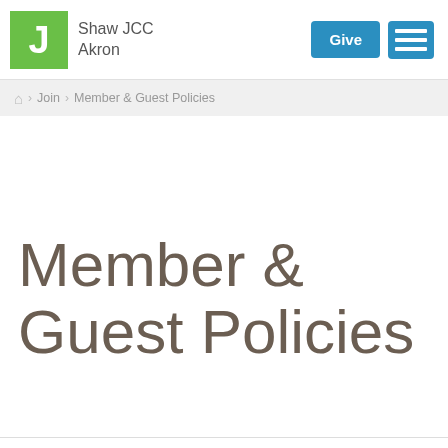Shaw JCC Akron
Home > Join > Member & Guest Policies
Member & Guest Policies